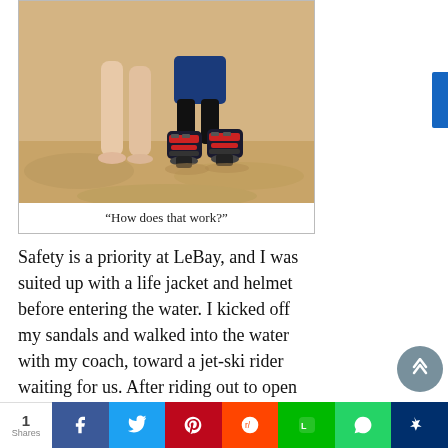[Figure (photo): Close-up photo of two people standing on sand at a beach; one person is barefoot, the other is wearing flyboard/jet boots that are black with red accents strapped to their feet, with sand visible around them.]
“How does that work?”
Safety is a priority at LeBay, and I was suited up with a life jacket and helmet before entering the water. I kicked off my sandals and walked into the water with my coach, toward a jet-ski rider waiting for us. After riding out to open water, away from the shallows, my coach and the jet-ski rider helped me get onto the flyboard, strapping my feet tight into the boots.
1 Shares  [Facebook] [Twitter] [Pinterest] [Reddit] [Line] [WhatsApp] [bookmark]